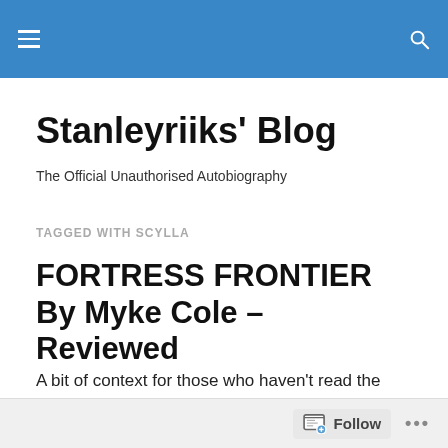Stanleyriiks' Blog navigation header
Stanleyriiks' Blog
The Official Unauthorised Autobiography
TAGGED WITH SCYLLA
FORTRESS FRONTIER By Myke Cole – Reviewed
A bit of context for those who haven't read the first book yet: this is like the X-Men, but with magic instead of mutations. When people develop magical abilities, or
Follow •••